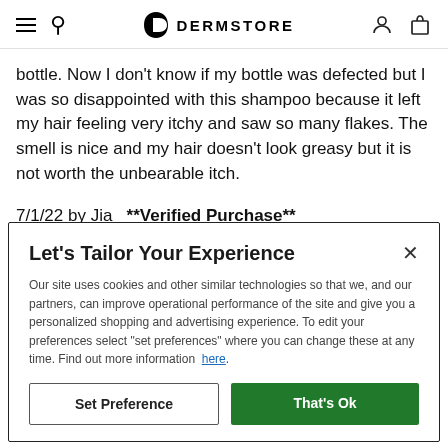DERMSTORE
bottle. Now I don't know if my bottle was defected but I was so disappointed with this shampoo because it left my hair feeling very itchy and saw so many flakes. The smell is nice and my hair doesn't look greasy but it is not worth the unbearable itch.
7/1/22 by Jia  **Verified Purchase**
Was this review helpful to you?
Let's Tailor Your Experience
Our site uses cookies and other similar technologies so that we, and our partners, can improve operational performance of the site and give you a personalized shopping and advertising experience. To edit your preferences select "set preferences" where you can change these at any time. Find out more information here.
Set Preference | That's Ok